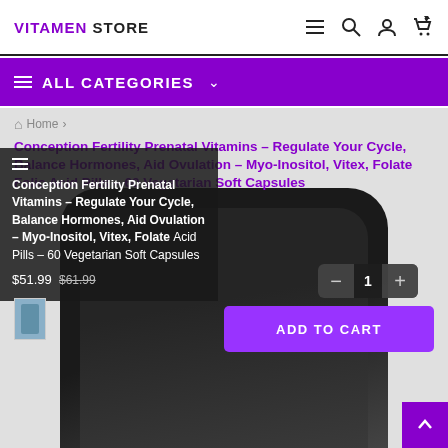VITAMEN STORE
ALL CATEGORIES
Home
Conception Fertility Prenatal Vitamins – Regulate Your Cycle, Balance Hormones, Aid Ovulation – Myo-Inositol, Vitex, Folate Folic Acid Pills – 60 Vegetarian Soft Capsules
$51.99  $61.99
[Figure (photo): Product page screenshot showing a dark cylindrical supplement bottle container on a gray background with quantity selector showing 1 and an ADD TO CART button]
ADD TO CART